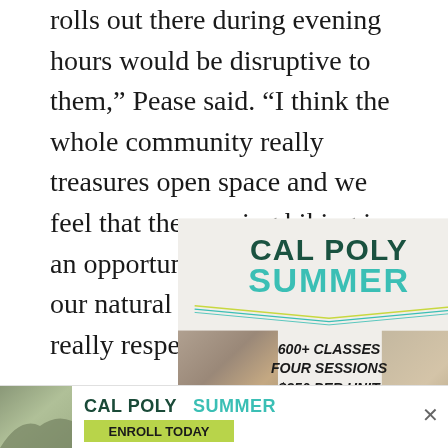rolls out there during evening hours would be disruptive to them,” Pease said. “I think the whole community really treasures open space and we feel that the evening hiking is an opportunity to connect with our natural environment in a really respectful way.”
[Figure (infographic): Cal Poly Summer advertisement showing CAL POLY SUMMER heading with teal and yellow chevron design, photos of hills/landscape, text reading 600+ CLASSES FOUR SESSIONS $250 PER UNIT, and ENROLL TODAY button]
[Figure (infographic): Sticky bottom banner ad for Cal Poly Summer with landscape photo, CAL POLY SUMMER text, and ENROLL TODAY green button, with close X button]